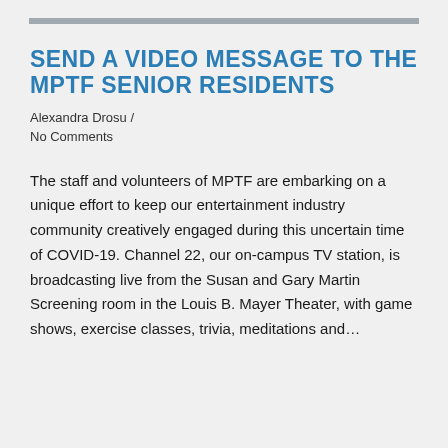SEND A VIDEO MESSAGE TO THE MPTF SENIOR RESIDENTS
Alexandra Drosu /
No Comments
The staff and volunteers of MPTF are embarking on a unique effort to keep our entertainment industry community creatively engaged during this uncertain time of COVID-19. Channel 22, our on-campus TV station, is broadcasting live from the Susan and Gary Martin Screening room in the Louis B. Mayer Theater, with game shows, exercise classes, trivia, meditations and…